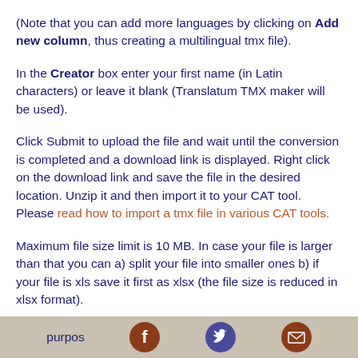(Note that you can add more languages by clicking on Add new column, thus creating a multilingual tmx file).
In the Creator box enter your first name (in Latin characters) or leave it blank (Translatum TMX maker will be used).
Click Submit to upload the file and wait until the conversion is completed and a download link is displayed. Right click on the download link and save the file in the desired location. Unzip it and then import it to your CAT tool. Please read how to import a tmx file in various CAT tools.
Maximum file size limit is 10 MB. In case your file is larger than that you can a) split your file into smaller ones b) if your file is xls save it first as xlsx (the file size is reduced in xlsx format).
Files are deleted hourly and they are not used for any purpos
purpos [Facebook icon] [Twitter icon] [Email icon]